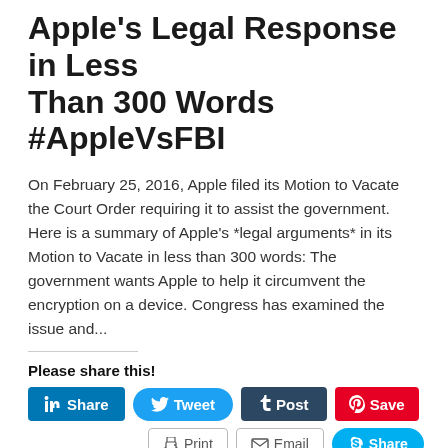Apple's Legal Response in Less Than 300 Words #AppleVsFBI
On February 25, 2016, Apple filed its Motion to Vacate the Court Order requiring it to assist the government. Here is a summary of Apple's *legal arguments* in its Motion to Vacate in less than 300 words: The government wants Apple to help it circumvent the encryption on a device. Congress has examined the issue and...
Please share this!
[Figure (other): Social share buttons row 1: LinkedIn Share, Tweet, Tumblr Post, Pinterest Save]
[Figure (other): Social share buttons row 2: Print, Email, Skype Share]
Like this:
Loading...